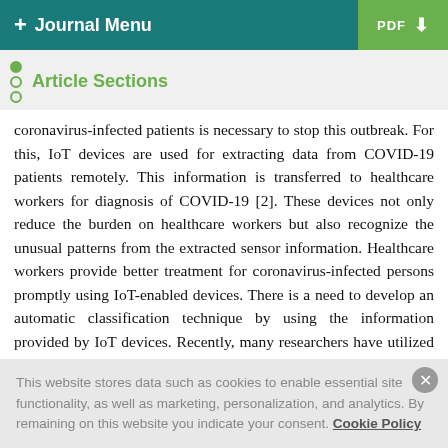+ Journal Menu | PDF ↓
Article Sections
coronavirus-infected patients is necessary to stop this outbreak. For this, IoT devices are used for extracting data from COVID-19 patients remotely. This information is transferred to healthcare workers for diagnosis of COVID-19 [2]. These devices not only reduce the burden on healthcare workers but also recognize the unusual patterns from the extracted sensor information. Healthcare workers provide better treatment for coronavirus-infected persons promptly using IoT-enabled devices. There is a need to develop an automatic classification technique by using the information provided by IoT devices. Recently, many researchers have utilized the deep learning models to support
This website stores data such as cookies to enable essential site functionality, as well as marketing, personalization, and analytics. By remaining on this website you indicate your consent. Cookie Policy